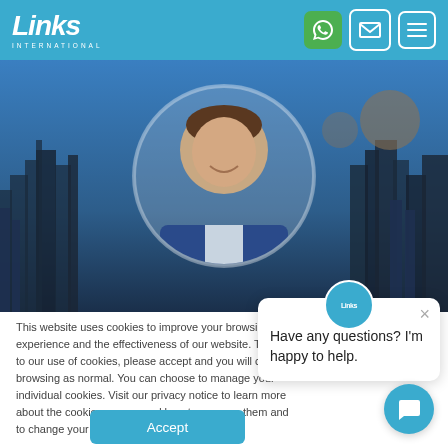Links International
[Figure (photo): Professional headshot of a smiling man in a blue suit, shown in a circular crop, against a city skyline background]
This website uses cookies to improve your browsing experience and the effectiveness of our website. To agree to our use of cookies, please accept and you will continue browsing as normal. You can choose to manage your individual cookies. Visit our privacy notice to learn more about the cookies we use and how to manage them and to change your preferences. Find out more.
[Figure (other): Chat popup widget with Links International avatar logo, text reading 'Have any questions? I'm happy to help.' with a close button]
Accept